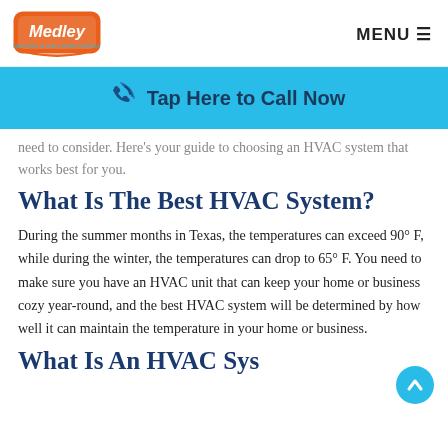Medley Heating & Air Conditioning — MENU
[Figure (other): Cyan call-to-action banner with phone icon and text 'Tap Here to Call Now']
need to consider. Here's your guide to choosing an HVAC system that works best for you.
What Is The Best HVAC System?
During the summer months in Texas, the temperatures can exceed 90° F, while during the winter, the temperatures can drop to 65° F. You need to make sure you have an HVAC unit that can keep your home or business cozy year-round, and the best HVAC system will be determined by how well it can maintain the temperature in your home or business.
What Is An HVAC System?